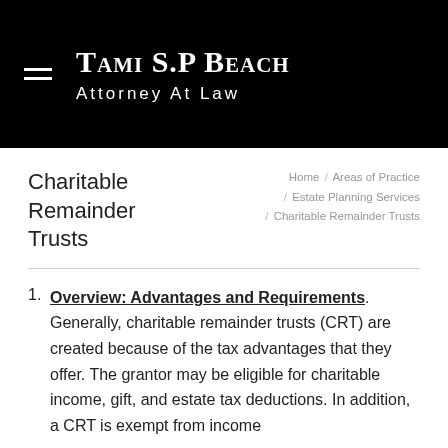Tami S.P Beach Attorney at Law
Charitable Remainder Trusts
Home / Areas of Practice / Estate Planning Services / Charitable Remainder Trusts
Overview: Advantages and Requirements. Generally, charitable remainder trusts (CRT) are created because of the tax advantages that they offer. The grantor may be eligible for charitable income, gift, and estate tax deductions. In addition, a CRT is exempt from income